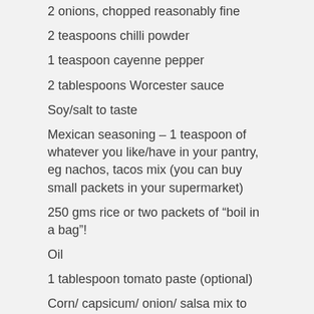2 onions, chopped reasonably fine
2 teaspoons chilli powder
1 teaspoon cayenne pepper
2 tablespoons Worcester sauce
Soy/salt to taste
Mexican seasoning – 1 teaspoon of whatever you like/have in your pantry, eg nachos, tacos mix (you can buy small packets in your supermarket)
250 gms rice or two packets of “boil in a bag”!
Oil
1 tablespoon tomato paste (optional)
Corn/ capsicum/ onion/ salsa mix to accompany
Cooking instructions